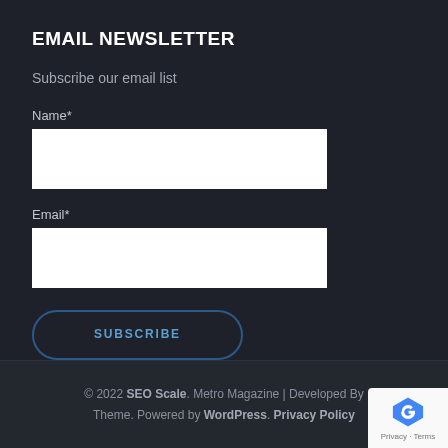EMAIL NEWSLETTER
Subscribe our email list
Name*
Email*
SUBSCRIBE
© 2022 SEO Scale. Metro Magazine | Developed By Theme. Powered by WordPress. Privacy Policy